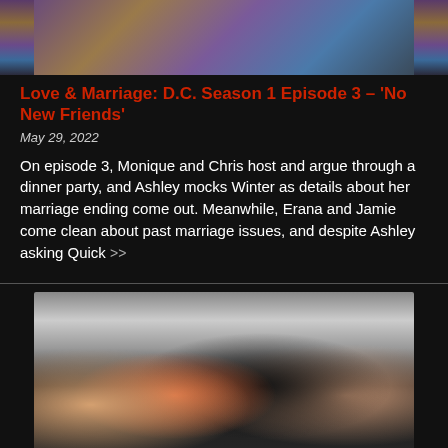[Figure (photo): Top portion of a photo showing people at an event, partially visible at top of page]
Love & Marriage: D.C. Season 1 Episode 3 – 'No New Friends'
May 29, 2022
On episode 3, Monique and Chris host and argue through a dinner party, and Ashley mocks Winter as details about her marriage ending come out. Meanwhile, Erana and Jamie come clean about past marriage issues, and despite Ashley asking Quick >>
[Figure (photo): Four women posing together at an event, dressed in formal/glamorous attire in an elegant indoor setting]